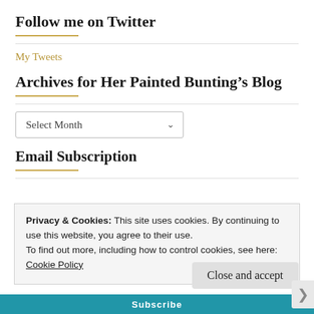Follow me on Twitter
My Tweets
Archives for Her Painted Bunting’s Blog
Select Month
Email Subscription
Privacy & Cookies: This site uses cookies. By continuing to use this website, you agree to their use.
To find out more, including how to control cookies, see here: Cookie Policy
Close and accept